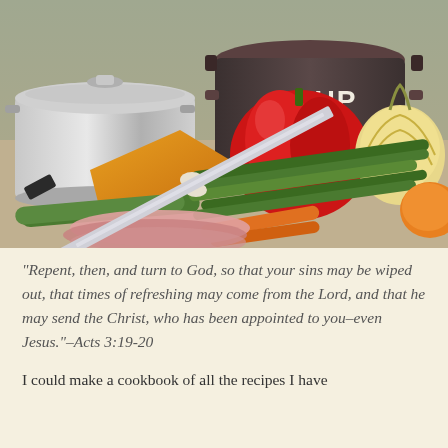[Figure (photo): A photo of cooking ingredients and kitchen items: a stainless steel pot with lid, a dark brown ceramic pot labeled SOUP, a red bell pepper, an onion, green onions/scallions, carrots, green beans, a large piece of yellow squash/pumpkin, zucchini, sliced ham/meat, and a large kitchen knife arranged on a surface.]
“Repent, then, and turn to God, so that your sins may be wiped out, that times of refreshing may come from the Lord, and that he may send the Christ, who has been appointed to you–even Jesus.”–Acts 3:19-20
I could make a cookbook of all the recipes I have